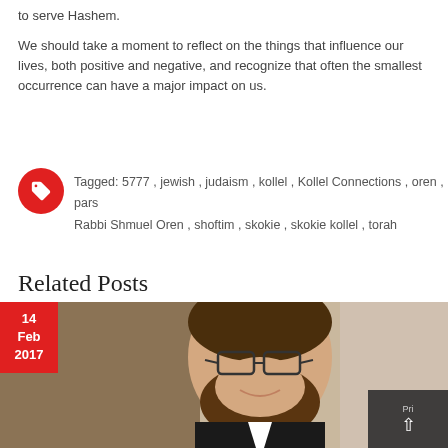to serve Hashem.
We should take a moment to reflect on the things that influence our lives, both positive and negative, and recognize that often the smallest occurrence can have a major impact on us.
Tagged: 5777 , jewish , judaism , kollel , Kollel Connections , oren , pars... Rabbi Shmuel Oren , shoftim , skokie , skokie kollel , torah
Related Posts
[Figure (photo): Portrait photo of a man with glasses and a beard, wearing a suit and tie. A date badge in the top-left corner shows 14 Feb 2017.]